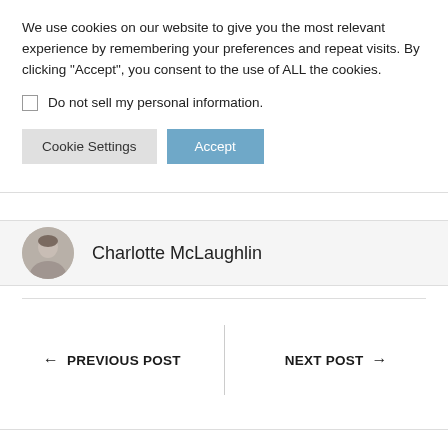We use cookies on our website to give you the most relevant experience by remembering your preferences and repeat visits. By clicking “Accept”, you consent to the use of ALL the cookies.
Do not sell my personal information.
Cookie Settings   Accept
Charlotte McLaughlin
← PREVIOUS POST    NEXT POST →